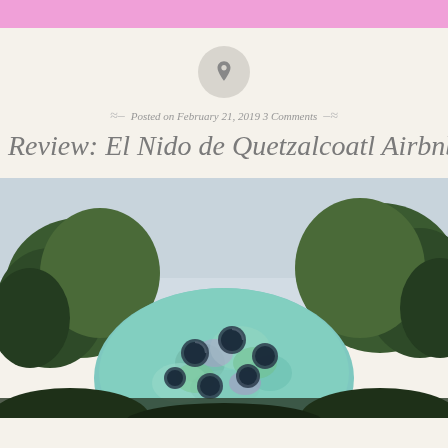[Figure (illustration): Pin/thumbtack icon inside a grey circle]
Posted on February 21, 2019 3 Comments
Review: El Nido de Quetzalcoatl Airbnb
[Figure (photo): Colorful dome-shaped building (El Nido de Quetzalcoatl) with circular porthole windows, teal/green/purple mosaic exterior, surrounded by trees against a grey sky]